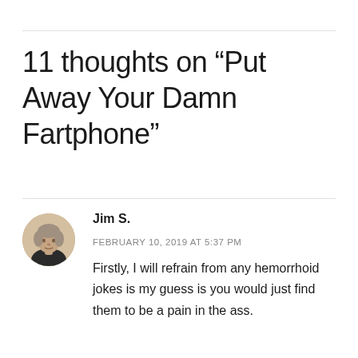11 thoughts on “Put Away Your Damn Fartphone”
[Figure (photo): Circular avatar photo of Jim S., an older man with gray hair wearing a dark shirt]
Jim S.
FEBRUARY 10, 2019 AT 5:37 PM
Firstly, I will refrain from any hemorrhoid jokes is my guess is you would just find them to be a pain in the ass.